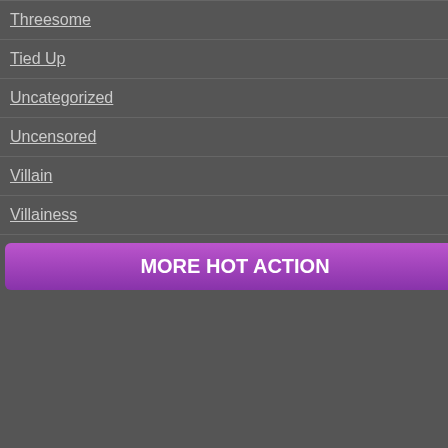Threesome
Tied Up
Uncategorized
Uncensored
Villain
Villainess
MORE HOT ACTION
Tags: April O'Neil, Babe, Beating, Big Boobs, Big
[Figure (photo): Three women in costumes: one in green ivy costume, one in Wonder Woman costume, one in leopard print]
Wonder Babes Controlled By Ivy And...
Added: July 5, 2020 at 9:41 pm
Tags: Ass, Big Boobs, Big Breasts, Big Tits,